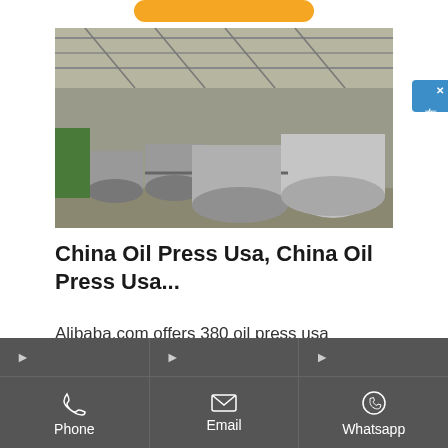[Figure (photo): Industrial facility interior showing large spherical/cylindrical metal tanks/vessels lined up inside a warehouse with metal roof structure]
China Oil Press Usa, China Oil Press Usa...
Alibaba.com offers 380 oil press usa products. About 18% of these
[Figure (other): Chinese online chat widget button on right side reading 在线咨询 (online consultation) with blue background]
Phone | Email | Whatsapp